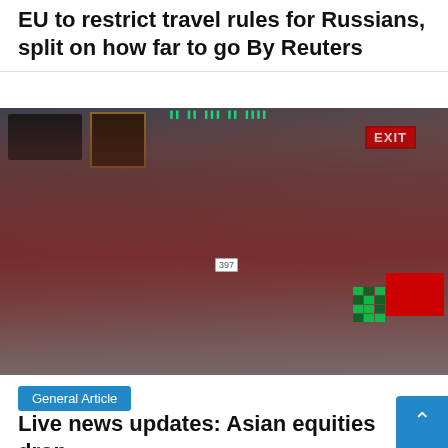EU to restrict travel rules for Russians, split on how far to go By Reuters
[Figure (photo): Stock exchange trader, a woman in a red jacket holding a tablet with badge number 397, standing on a trading floor with EXIT sign visible in background and green ticker boards.]
General Article
Live news updates: Asian equities drop as gloom persists after central bankers'